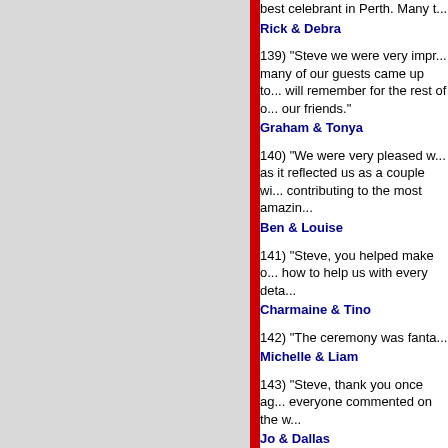best celebrant in Perth. Many t...
Rick & Debra
139) "Steve we were very impr... many of our guests came up to... will remember for the rest of o... our friends."
Graham & Tonya
140) "We were very pleased w... as it reflected us as a couple wi... contributing to the most amazin...
Ben & Louise
141) "Steve, you helped make o... how to help us with every deta...
Charmaine & Tino
142) "The ceremony was fanta...
Michelle & Liam
143) "Steve, thank you once ag... everyone commented on the w...
Jo & Dallas
144) "We were very happy with... thanks for keeping the music g...
Annette & Tom